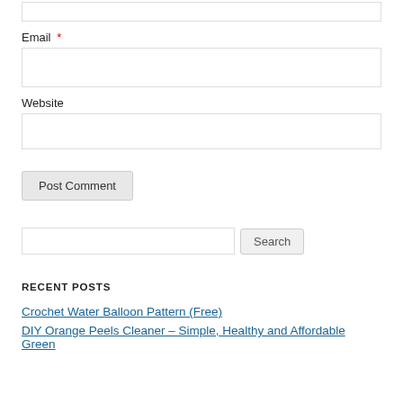Email *
Website
Post Comment
Search
RECENT POSTS
Crochet Water Balloon Pattern (Free)
DIY Orange Peels Cleaner – Simple, Healthy and Affordable Green